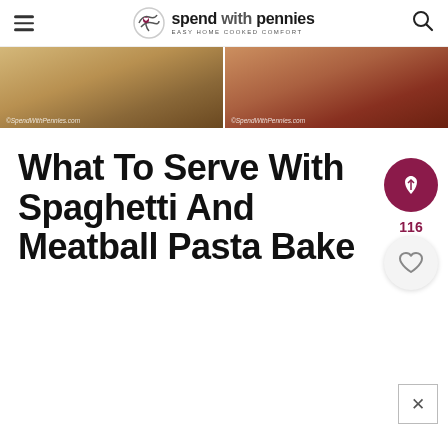spend with pennies — Easy Home Cooked Comfort
[Figure (photo): Two side-by-side food photos showing spaghetti and meatball pasta bake dishes, with SpendWithPennies.com watermarks]
What To Serve With Spaghetti And Meatball Pasta Bake